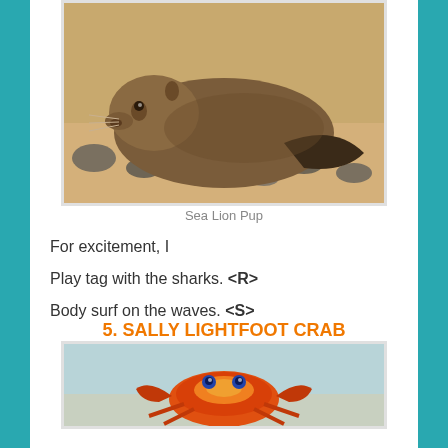[Figure (photo): A sea lion pup lying on sandy beach with rocks, looking at camera]
Sea Lion Pup
For excitement, I
Play tag with the sharks. <R>
Body surf on the waves. <S>
5. SALLY LIGHTFOOT CRAB
[Figure (photo): A colorful Sally Lightfoot Crab with orange, red, and blue colors]